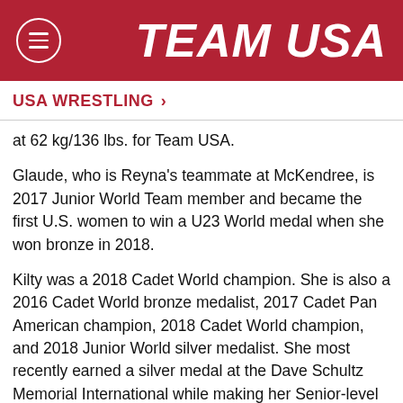TEAM USA
USA WRESTLING >
at 62 kg/136 lbs. for Team USA.
Glaude, who is Reyna's teammate at McKendree, is 2017 Junior World Team member and became the first U.S. women to win a U23 World medal when she won bronze in 2018.
Kilty was a 2018 Cadet World champion. She is also a 2016 Cadet World bronze medalist, 2017 Cadet Pan American champion, 2018 Cadet World champion, and 2018 Junior World silver medalist. She most recently earned a silver medal at the Dave Schultz Memorial International while making her Senior-level debut.